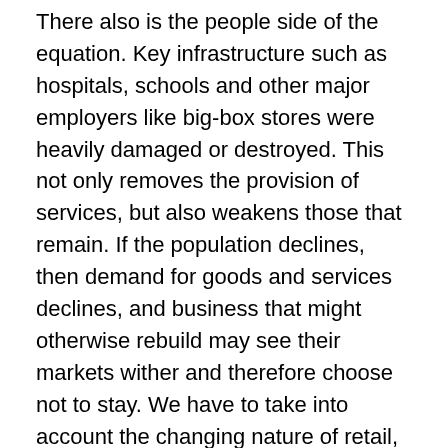There also is the people side of the equation. Key infrastructure such as hospitals, schools and other major employers like big-box stores were heavily damaged or destroyed. This not only removes the provision of services, but also weakens those that remain. If the population declines, then demand for goods and services declines, and business that might otherwise rebuild may see their markets wither and therefore choose not to stay. We have to take into account the changing nature of retail, which is being done more and more on the web.
On the other hand, a total disaster is an opportunity if there are sufficient funds to start new operations, support infrastructure upgrades and foster renewal. The question here is whether local businesses will be part of this [recovery] if reorganization from...